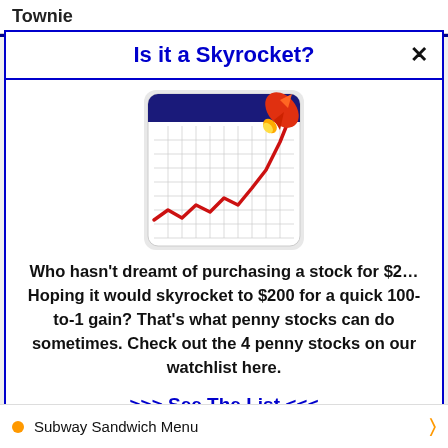Townie
Is it a Skyrocket?
[Figure (illustration): Stock chart illustration showing an upward-trending red line graph on a grid calendar background with a rocket in the upper right corner]
Who hasn't dreamt of purchasing a stock for $2… Hoping it would skyrocket to $200 for a quick 100-to-1 gain? That's what penny stocks can do sometimes. Check out the 4 penny stocks on our watchlist here.
>>> See The List <<<
Subway Sandwich Menu